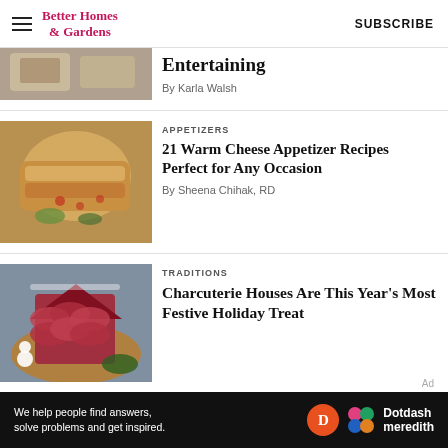Better Homes & Gardens | SUBSCRIBE
[Figure (photo): Partial view of food items on a tray (top cropped)]
Entertaining
By Karla Walsh
[Figure (photo): Cheesy appetizer wrapped in pastry on wooden board]
APPETIZERS
21 Warm Cheese Appetizer Recipes Perfect for Any Occasion
By Sheena Chihak, RD
[Figure (photo): Charcuterie house made from salami slices on wooden board with snowman decoration]
TRADITIONS
Charcuterie Houses Are This Year's Most Festive Holiday Treat
Ad | We help people find answers, solve problems and get inspired. Dotdash meredith